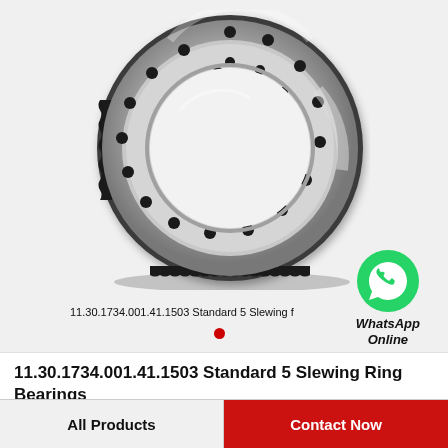[Figure (photo): Slewing ring bearing (slew ring), a large annular bearing with internal gear teeth and bolt holes, metallic silver finish, viewed at a slight angle.]
11.30.1734.001.41.1503 Standard 5 Slewing f
[Figure (logo): WhatsApp green circle icon with phone handset, with text 'WhatsApp Online' in italic bold below.]
11.30.1734.001.41.1503 Standard 5 Slewing Ring Bearings
All Products
Contact Now